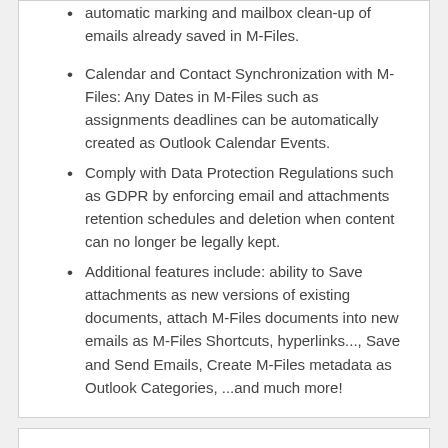automatic marking and mailbox clean-up of emails already saved in M-Files.
Calendar and Contact Synchronization with M-Files: Any Dates in M-Files such as assignments deadlines can be automatically created as Outlook Calendar Events.
Comply with Data Protection Regulations such as GDPR by enforcing email and attachments retention schedules and deletion when content can no longer be legally kept.
Additional features include: ability to Save attachments as new versions of existing documents, attach M-Files documents into new emails as M-Files Shortcuts, hyperlinks..., Save and Send Emails, Create M-Files metadata as Outlook Categories, ...and much more!
Documentation and Additional Information